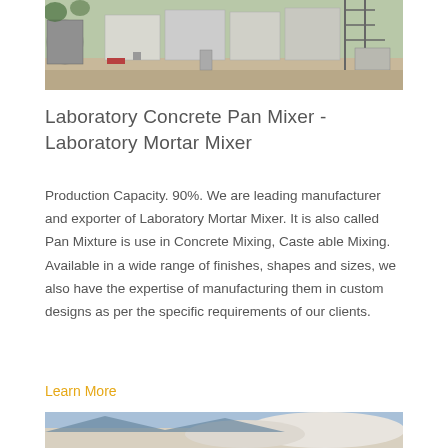[Figure (photo): Outdoor photo of a concrete mixing plant with industrial equipment, containers, and structural steel framework]
Laboratory Concrete Pan Mixer - Laboratory Mortar Mixer
Production Capacity. 90%. We are leading manufacturer and exporter of Laboratory Mortar Mixer. It is also called Pan Mixture is use in Concrete Mixing, Caste able Mixing. Available in a wide range of finishes, shapes and sizes, we also have the expertise of manufacturing them in custom designs as per the specific requirements of our clients.
Learn More
[Figure (photo): Outdoor photo of a rocky hillside or quarry with blue sky and white/grey rock or aggregate material]